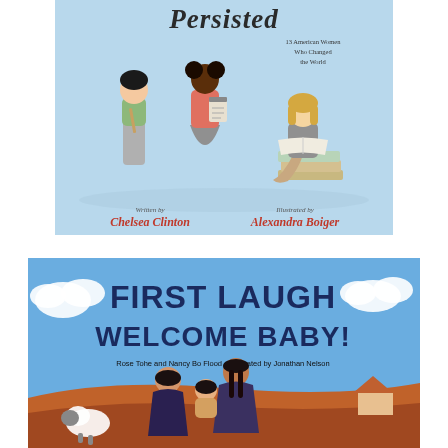[Figure (illustration): Book cover for 'She Persisted: 13 American Women Who Changed the World', written by Chelsea Clinton, illustrated by Alexandra Boiger. Light blue cover with illustrated children figures representing historical women.]
[Figure (illustration): Book cover for 'First Laugh Welcome Baby!' by Rose Tohe and Nancy Bo Flood, illustrated by Jonathan Nelson. Blue sky cover with illustrated Native American family holding a baby.]